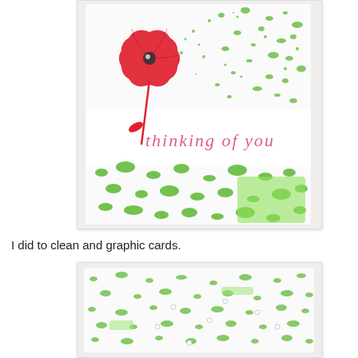[Figure (photo): A handmade greeting card with a red flower stamp and green speckled pattern background. The card has a white banner in the middle with the text 'thinking of you' in red/pink script. The flower has a jewel center, a red stem, and a small leaf. The background has scattered green paint splatters throughout.]
I did to clean and graphic cards.
[Figure (photo): A close-up of a handmade card showing a white card base with scattered green paint/ink speckles and a few small rhinestones or crystal embellishments placed across the surface. The background is mostly white with varying densities of green speckling.]